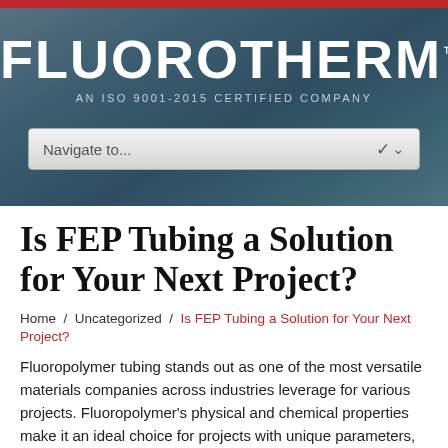[Figure (screenshot): Fluorotherm website header with red banner, dark blue-grey gradient background, white FLUOROTHERM logo with TM mark, ISO 9001-2015 CERTIFIED COMPANY tagline, and a navigate dropdown bar]
Is FEP Tubing a Solution for Your Next Project?
Home / Uncategorized / Is FEP Tubing a Solution for Your Next Project?
Fluoropolymer tubing stands out as one of the most versatile materials companies across industries leverage for various projects. Fluoropolymer's physical and chemical properties make it an ideal choice for projects with unique parameters, including projects in which materials are exposed to extreme heat, cold, tension, and chemicals.  Though there are seven